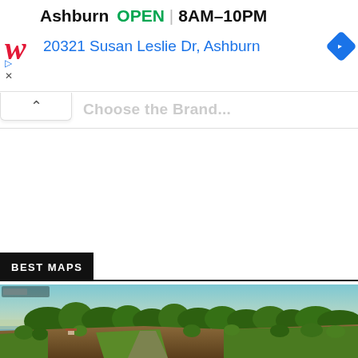[Figure (screenshot): Walgreens advertisement banner showing store in Ashburn is OPEN 8AM-10PM with address 20321 Susan Leslie Dr, Ashburn, navigation icon on right, Walgreens logo on left]
Choose the Brand...
BEST MAPS
[Figure (screenshot): Farming Simulator game screenshot showing aerial view of a rural landscape with fields, trees, farmland, and a clear sky]